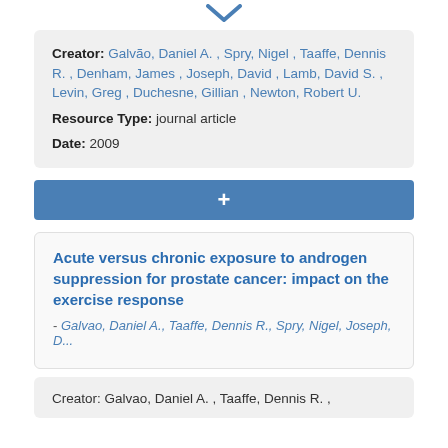[Figure (other): Downward chevron/arrow icon in blue]
Creator: Galvão, Daniel A. , Spry, Nigel , Taaffe, Dennis R. , Denham, James , Joseph, David , Lamb, David S. , Levin, Greg , Duchesne, Gillian , Newton, Robert U.
Resource Type: journal article
Date: 2009
[Figure (other): Blue button with plus (+) sign for adding item]
Acute versus chronic exposure to androgen suppression for prostate cancer: impact on the exercise response
- Galvao, Daniel A., Taaffe, Dennis R., Spry, Nigel, Joseph, D...
Creator: Galvao, Daniel A. , Taaffe, Dennis R. ,